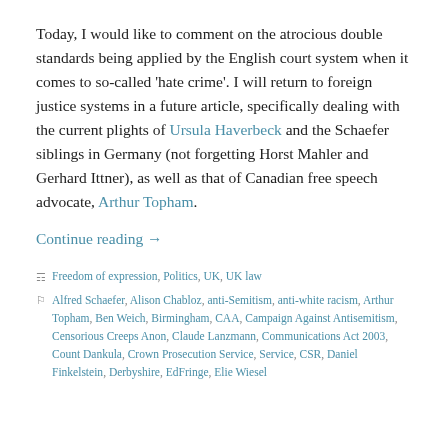Today, I would like to comment on the atrocious double standards being applied by the English court system when it comes to so-called 'hate crime'. I will return to foreign justice systems in a future article, specifically dealing with the current plights of Ursula Haverbeck and the Schaefer siblings in Germany (not forgetting Horst Mahler and Gerhard Ittner), as well as that of Canadian free speech advocate, Arthur Topham.
Continue reading →
Freedom of expression, Politics, UK, UK law
Alfred Schaefer, Alison Chabloz, anti-Semitism, anti-white racism, Arthur Topham, Ben Weich, Birmingham, CAA, Campaign Against Antisemitism, Censorious Creeps Anon, Claude Lanzmann, Communications Act 2003, Count Dankula, Crown Prosecution Service, CSR, Daniel Finkelstein, Derbyshire, EdFringe, Elie Wiesel